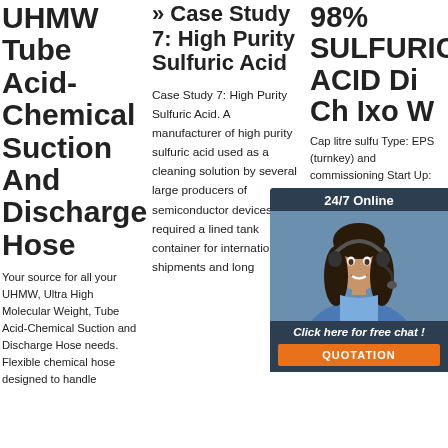UHMW Tube Acid-Chemical Suction And Discharge Hose
Your source for all your UHMW, Ultra High Molecular Weight, Tube Acid-Chemical Suction and Discharge Hose needs. Flexible chemical hose designed to handle
» Case Study 7: High Purity Sulfuric Acid
Case Study 7: High Purity Sulfuric Acid. A manufacturer of high purity sulfuric acid used as a cleaning solution by several large producers of semiconductor devices required a lined tank container for international shipments and long
98% SULFURIC ACID Di Ch Ixo W
Cap litre sulfu Type: EPS (turnkey) and commissioning Start Up: 2018 Benefits: • Improved inherent process safety • Replacement
[Figure (photo): Chat widget overlay showing a woman with a headset, dark blue background, '24/7 Online' header, 'Click here for free chat!' message, and an orange QUOTATION button]